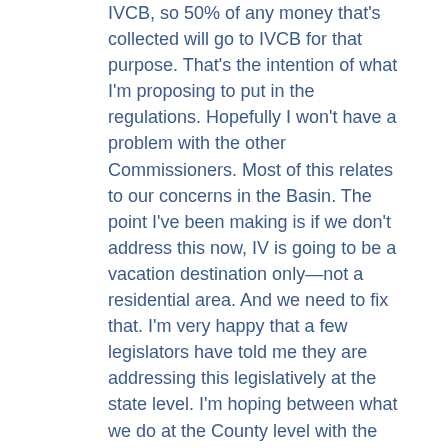IVCB, so 50% of any money that's collected will go to IVCB for that purpose. That's the intention of what I'm proposing to put in the regulations. Hopefully I won't have a problem with the other Commissioners. Most of this relates to our concerns in the Basin. The point I've been making is if we don't address this now, IV is going to be a vacation destination only—not a residential area. And we need to fix that. I'm very happy that a few legislators have told me they are addressing this legislatively at the state level. I'm hoping between what we do at the County level with the Ordinance and regulations in effect hopefully in the first quarter of next year, and what the Legislature does starting in February… I'm going to work hand-in-glove with those two legislators on that issue. It's very clear that these are issues that must be addressed and taken care of. I'm very concerned about Incline as you know. I get a lot of complaints, but I think that we got the District Attorney to give us an opinion that because IVCB sits in the Planning area for the Basin under TRPA authority, we can have different rules. That's a long fight we won. Now we're moving forward aggressively. I want